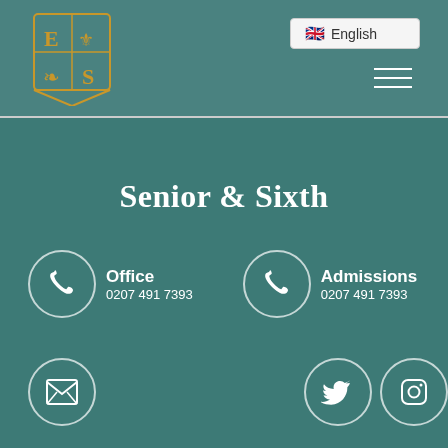[Figure (logo): School crest/coat of arms in gold on teal background header]
🇬🇧 English
[Figure (illustration): Hamburger menu icon (three horizontal lines) in top right of header]
Senior & Sixth
[Figure (infographic): Office phone icon in white circle, with label 'Office' and number '0207 491 7393']
[Figure (infographic): Admissions phone icon in white circle, with label 'Admissions' and number '0207 491 7393']
[Figure (infographic): Email/envelope icon in white circle]
[Figure (infographic): Twitter bird icon in white circle]
[Figure (infographic): Instagram icon in white circle]